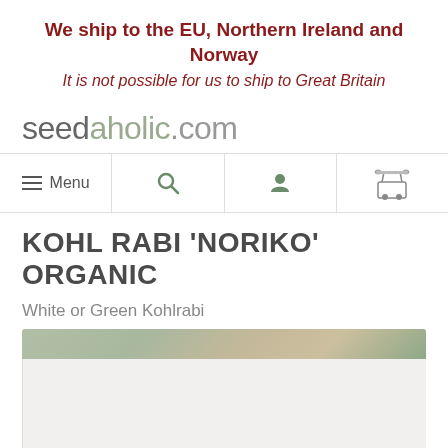We ship to the EU, Northern Ireland and Norway
It is not possible for us to ship to Great Britain
[Figure (logo): seedaholic.com logo in grey text]
[Figure (screenshot): Navigation bar with hamburger menu (Menu), search icon, user icon, and cart icon]
KOHL RABI 'NORIKO' ORGANIC
White or Green Kohlrabi
[Figure (photo): Partial photo of Kohl Rabi vegetable, showing green leaves and bulb]